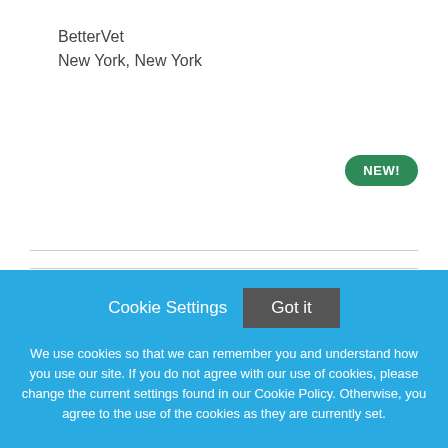BetterVet
New York, New York
[Figure (logo): People, Pets & Vets Logo with broken image icon]
Licensed Veterinary Technician @ Helping Hands
Cookie Settings
Got it
We use cookies so that we can remember you and understand how you use our site. If you do not agree with our use of cookies, please change the current settings found in our Cookie Policy. Otherwise, you agree to the use of the cookies as they are currently set.